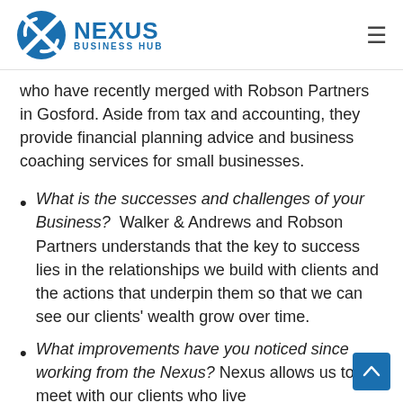NEXUS BUSINESS HUB
who have recently merged with Robson Partners in Gosford. Aside from tax and accounting, they provide financial planning advice and business coaching services for small businesses.
What is the successes and challenges of your Business?  Walker & Andrews and Robson Partners understands that the key to success lies in the relationships we build with clients and the actions that underpin them so that we can see our clients' wealth grow over time.
What improvements have you noticed since working from the Nexus? Nexus allows us to meet with our clients who live